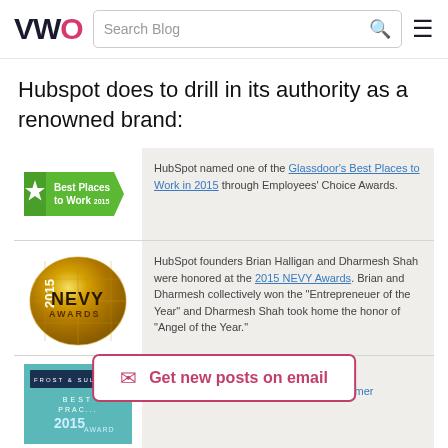VWO | Search Blog
Hubspot does to drill in its authority as a renowned brand:
[Figure (screenshot): Award row 1: Best Places to Work 2015 green badge with star, text: HubSpot named one of the Glassdoor's Best Places to Work in 2015 through Employees' Choice Awards.]
[Figure (screenshot): Award row 2: 2015 NEVY Awards golden globe image, text: HubSpot founders Brian Halligan and Dharmesh Shah were honored at the 2015 NEVY Awards. Brian and Dharmesh collectively won the 'Entrepreneuer of the Year' and Dharmesh Shah took home the honor of 'Angel of the Year.']
[Figure (screenshot): Award row 3: Frost & Sullivan 2015 Best Practices Award teal book cover (partially visible), text: Sullivan with the 2015 Global Marketing Automation Customer]
[Figure (infographic): Email CTA overlay: envelope icon and text 'Get new posts on email' in pink border box]